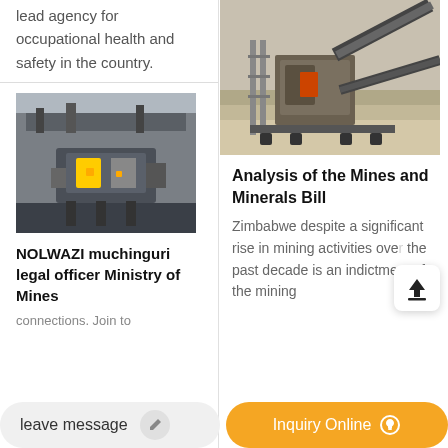lead agency for occupational health and safety in the country.
[Figure (photo): Industrial mining machinery/processing equipment inside a facility, viewed from outside]
NOLWAZI muchinguri legal officer Ministry of Mines
[Figure (photo): Outdoor mining processing equipment with conveyor belts and machinery in an arid landscape]
Analysis of the Mines and Minerals Bill
Zimbabwe despite a significant rise in mining activities over the past decade is an indictment of the mining
leave message
Inquiry Online
connections. Join to